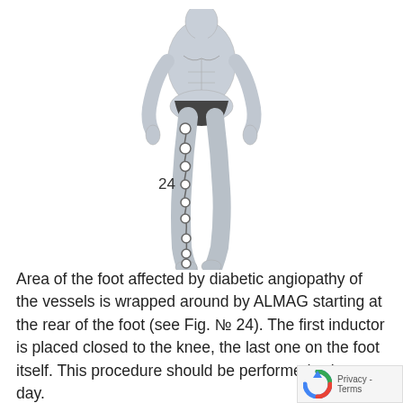[Figure (illustration): Medical illustration of a human body (front view) showing ALMAG inductor placement along the leg from knee to foot, with circular inductors connected by a wavy line running down the leg. The number 24 labels the figure near the knee area.]
Area of the foot affected by diabetic angiopathy of the vessels is wrapped around by ALMAG starting at the rear of the foot (see Fig. № 24). The first inductor is placed closed to the knee, the last one on the foot itself. This procedure should be performed twice a day.
In case of vascular lesion of the thigh segment procedure with ALMAG is carried out once a day